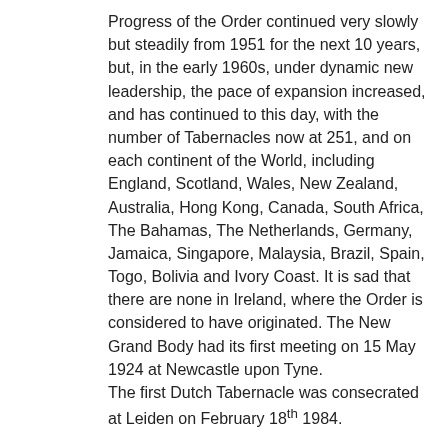Progress of the Order continued very slowly but steadily from 1951 for the next 10 years, but, in the early 1960s, under dynamic new leadership, the pace of expansion increased, and has continued to this day, with the number of Tabernacles now at 251, and on each continent of the World, including England, Scotland, Wales, New Zealand, Australia, Hong Kong, Canada, South Africa, The Bahamas, The Netherlands, Germany, Jamaica, Singapore, Malaysia, Brazil, Spain, Togo, Bolivia and Ivory Coast. It is sad that there are none in Ireland, where the Order is considered to have originated. The New Grand Body had its first meeting on 15 May 1924 at Newcastle upon Tyne. The first Dutch Tabernacle was consecrated at Leiden on February 18th 1984.